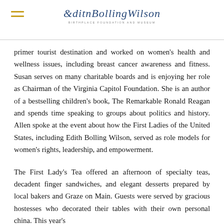Edith Bolling Wilson Birthplace Foundation and Museum
primer tourist destination and worked on women's health and wellness issues, including breast cancer awareness and fitness. Susan serves on many charitable boards and is enjoying her role as Chairman of the Virginia Capitol Foundation. She is an author of a bestselling children's book, The Remarkable Ronald Reagan and spends time speaking to groups about politics and history. Allen spoke at the event about how the First Ladies of the United States, including Edith Bolling Wilson, served as role models for women's rights, leadership, and empowerment.
The First Lady's Tea offered an afternoon of specialty teas, decadent finger sandwiches, and elegant desserts prepared by local bakers and Graze on Main. Guests were served by gracious hostesses who decorated their tables with their own personal china. This year's